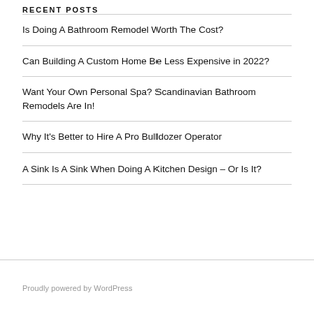RECENT POSTS
Is Doing A Bathroom Remodel Worth The Cost?
Can Building A Custom Home Be Less Expensive in 2022?
Want Your Own Personal Spa? Scandinavian Bathroom Remodels Are In!
Why It's Better to Hire A Pro Bulldozer Operator
A Sink Is A Sink When Doing A Kitchen Design – Or Is It?
Proudly powered by WordPress